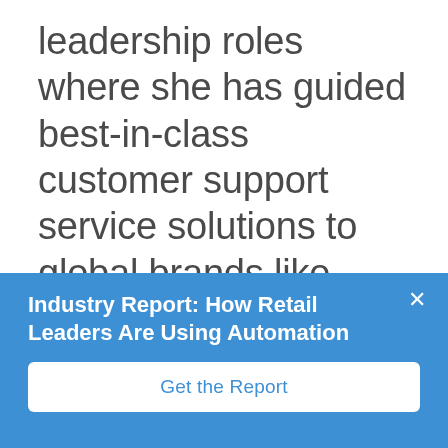leadership roles where she has guided best-in-class customer support service solutions to global brands like McDonald's, BMW, Citibank, Sonic Drive-In, and Jiffy Lube. As an Executive Council member for Ellevate Network, Chris is dedicated to the professional development of
Industry Report: How Retail Leaders Are Using Automation
Get the Report